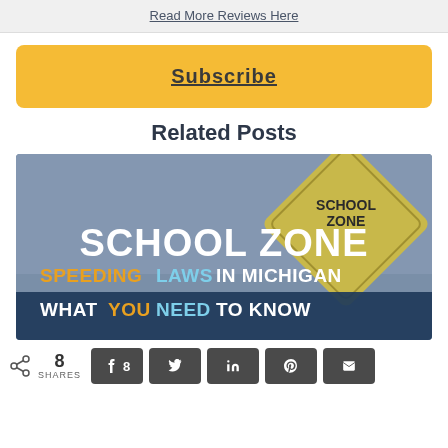Read More Reviews Here
Subscribe
Related Posts
[Figure (photo): School Zone Speeding Laws in Michigan - What You Need to Know. Image shows a school zone road sign with text overlay on a blue background.]
8 SHARES | Share buttons: Facebook (8), Twitter, LinkedIn, Pinterest, Email